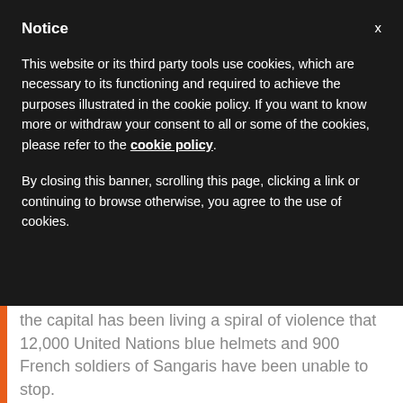Notice
This website or its third party tools use cookies, which are necessary to its functioning and required to achieve the purposes illustrated in the cookie policy. If you want to know more or withdraw your consent to all or some of the cookies, please refer to the cookie policy.
By closing this banner, scrolling this page, clicking a link or continuing to browse otherwise, you agree to the use of cookies.
the capital has been living a spiral of violence that 12,000 United Nations blue helmets and 900 French soldiers of Sangaris have been unable to stop.
The high risk denounced by the French has not decreased. Central Africa was disintegrated in the...